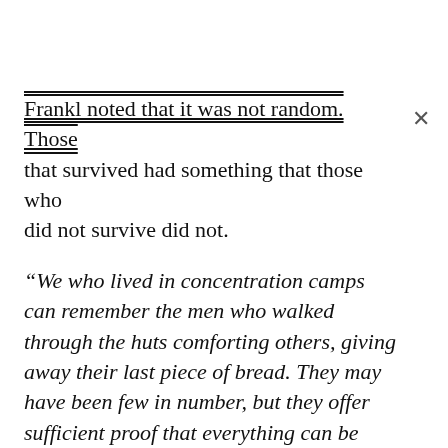Frankl noted that it was not random. Those that survived had something that those who did not survive did not.
“We who lived in concentration camps can remember the men who walked through the huts comforting others, giving away their last piece of bread. They may have been few in number, but they offer sufficient proof that everything can be taken from a man but one thing: the last of the human freedoms—to choose one’s attitude in any given set of circumstances, to choose one’s own way.” Victor Frankl